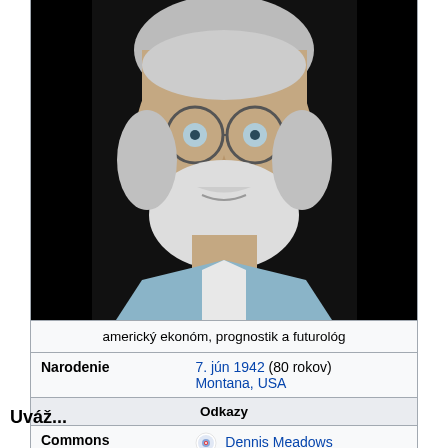[Figure (photo): Photograph of Dennis Meadows, elderly man with white beard and round glasses, wearing a light blue collar shirt, dark background.]
americký ekonóm, prognostik a futurológ
| Narodenie | 7. jún 1942 (80 rokov)
Montana, USA |
| Odkazy |  |
| Commons | Dennis Meadows |
|  | Biografický portál |